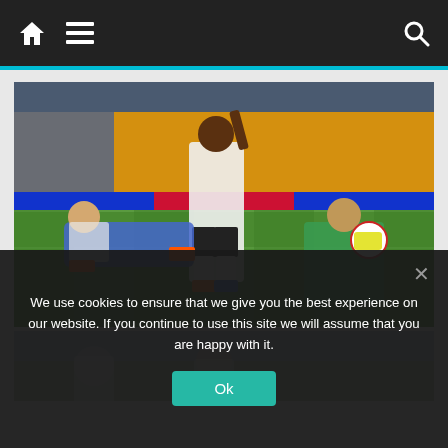Navigation bar with home, menu, and search icons
[Figure (photo): Soccer match photo: England player in white jumping/celebrating after a shot, Italian goalkeeper in green kneeling holding ball, another player in blue sliding on the pitch. Stadium with orange/yellow seats in background. Taken at Molineux stadium.]
[Figure (photo): Partially visible second soccer match photo behind cookie consent overlay, showing players on pitch.]
We use cookies to ensure that we give you the best experience on our website. If you continue to use this site we will assume that you are happy with it.